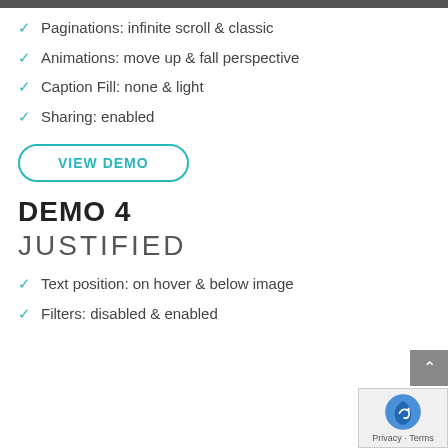Paginations: infinite scroll & classic
Animations: move up & fall perspective
Caption Fill: none & light
Sharing: enabled
VIEW DEMO
DEMO 4
JUSTIFIED
Text position: on hover & below image
Filters: disabled & enabled